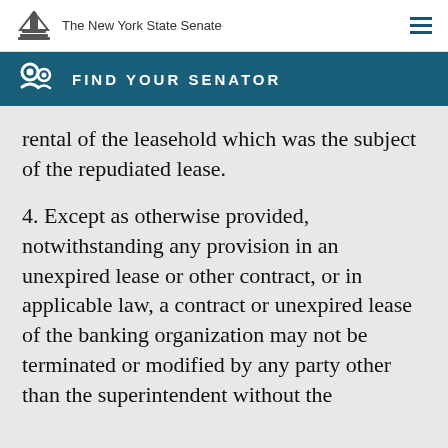The New York State Senate
FIND YOUR SENATOR
rental of the leasehold which was the subject of the repudiated lease.
4. Except as otherwise provided, notwithstanding any provision in an unexpired lease or other contract, or in applicable law, a contract or unexpired lease of the banking organization may not be terminated or modified by any party other than the superintendent without the